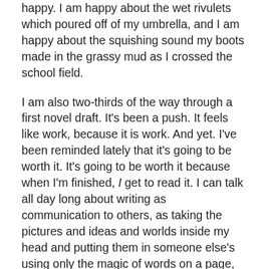happy. I am happy about the wet rivulets which poured off of my umbrella, and I am happy about the squishing sound my boots made in the grassy mud as I crossed the school field.
I am also two-thirds of the way through a first novel draft. It's been a push. It feels like work, because it is work. And yet. I've been reminded lately that it's going to be worth it. It's going to be worth it because when I'm finished, I get to read it. I can talk all day long about writing as communication to others, as taking the pictures and ideas and worlds inside my head and putting them in someone else's using only the magic of words on a page, and I believe in all that, I do. But ultimately, in the moment, in the midst of the act of creation, I am nearly always writing for myself.
I create to respond to the truth and beauty I see, to call to